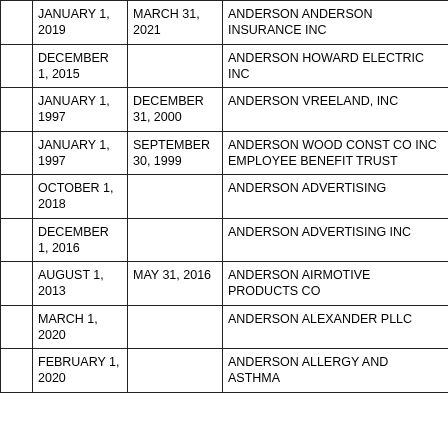|  | START DATE | END DATE | NAME |
| --- | --- | --- | --- |
|  | JANUARY 1, 2019 | MARCH 31, 2021 | ANDERSON ANDERSON INSURANCE INC |
|  | DECEMBER 1, 2015 |  | ANDERSON HOWARD ELECTRIC INC |
|  | JANUARY 1, 1997 | DECEMBER 31, 2000 | ANDERSON VREELAND, INC |
|  | JANUARY 1, 1997 | SEPTEMBER 30, 1999 | ANDERSON WOOD CONST CO INC EMPLOYEE BENEFIT TRUST |
|  | OCTOBER 1, 2018 |  | ANDERSON ADVERTISING |
|  | DECEMBER 1, 2016 |  | ANDERSON ADVERTISING INC |
|  | AUGUST 1, 2013 | MAY 31, 2016 | ANDERSON AIRMOTIVE PRODUCTS CO |
|  | MARCH 1, 2020 |  | ANDERSON ALEXANDER PLLC |
|  | FEBRUARY 1, 2020 |  | ANDERSON ALLERGY AND ASTHMA |